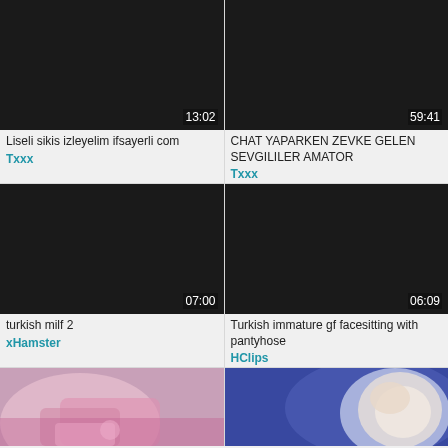[Figure (screenshot): Video thumbnail black screen with duration 13:02, title: Liseli sikis izleyelim ifsayerli com, source: Txxx]
[Figure (screenshot): Video thumbnail black screen with duration 59:41, title: CHAT YAPARKEN ZEVKE GELEN SEVGILILER AMATOR, source: Txxx]
[Figure (screenshot): Video thumbnail black screen with duration 07:00, title: turkish milf 2, source: xHamster]
[Figure (screenshot): Video thumbnail black screen with duration 06:09, title: Turkish immature gf facesitting with pantyhose, source: HClips]
[Figure (photo): Partial thumbnail image showing pink/purple clothing]
[Figure (photo): Partial thumbnail image showing person's face with blue/purple background]